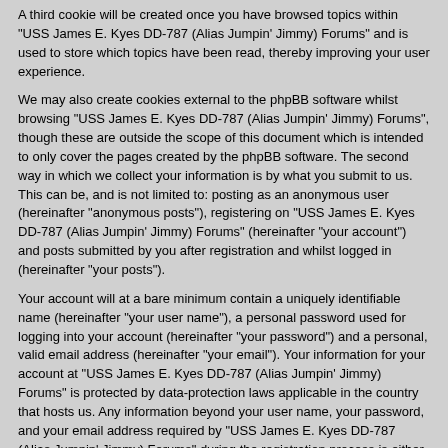A third cookie will be created once you have browsed topics within "USS James E. Kyes DD-787 (Alias Jumpin' Jimmy) Forums" and is used to store which topics have been read, thereby improving your user experience.
We may also create cookies external to the phpBB software whilst browsing "USS James E. Kyes DD-787 (Alias Jumpin' Jimmy) Forums", though these are outside the scope of this document which is intended to only cover the pages created by the phpBB software. The second way in which we collect your information is by what you submit to us. This can be, and is not limited to: posting as an anonymous user (hereinafter "anonymous posts"), registering on "USS James E. Kyes DD-787 (Alias Jumpin' Jimmy) Forums" (hereinafter "your account") and posts submitted by you after registration and whilst logged in (hereinafter "your posts").
Your account will at a bare minimum contain a uniquely identifiable name (hereinafter "your user name"), a personal password used for logging into your account (hereinafter "your password") and a personal, valid email address (hereinafter "your email"). Your information for your account at "USS James E. Kyes DD-787 (Alias Jumpin' Jimmy) Forums" is protected by data-protection laws applicable in the country that hosts us. Any information beyond your user name, your password, and your email address required by "USS James E. Kyes DD-787 (Alias Jumpin' Jimmy) Forums" during the registration process is either mandatory or optional, at the discretion of "USS James E. Kyes DD-787 (Alias Jumpin' Jimmy) Forums". In all cases, you have the option of what information in your account is publicly displayed. Furthermore, within your account, you have the option to opt-in or opt-out of automatically generated emails from the phpBB software.